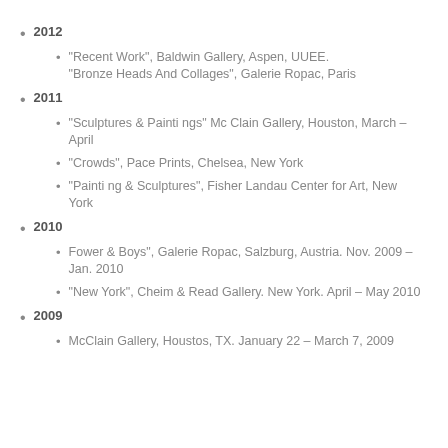2012
“Recent Work”, Baldwin Gallery, Aspen, UUEE. “Bronze Heads And Collages”, Galerie Ropac, Paris
2011
“Sculptures & Paintings” Mc Clain Gallery, Houston, March – April
“Crowds”, Pace Prints, Chelsea, New York
“Painting & Sculptures”, Fisher Landau Center for Art, New York
2010
Fower & Boys”, Galerie Ropac, Salzburg, Austria. Nov. 2009 – Jan. 2010
“New York”, Cheim & Read Gallery. New York. April – May 2010
2009
McClain Gallery, Houstos, TX. January 22 – March 7, 2009